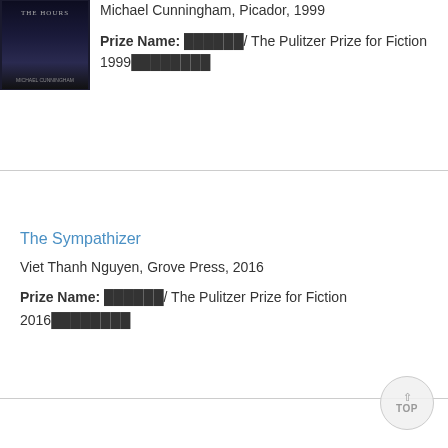[Figure (photo): Book cover of The Hours by Michael Cunningham, dark blue/black background]
Michael Cunningham, Picador, 1999
Prize Name: ██████/ The Pulitzer Prize for Fiction 1999████████
The Sympathizer
Viet Thanh Nguyen, Grove Press, 2016
Prize Name: ██████/ The Pulitzer Prize for Fiction 2016████████
American Pastoral
Philip Roth , Houghton Mifflin, 1998
Prize Name: ██████/ The Pulitzer Prize for Fiction 1998████████